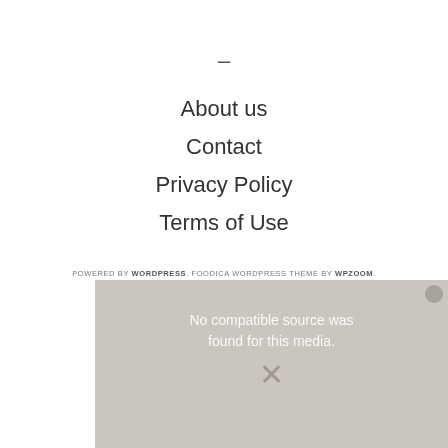–
About us
Contact
Privacy Policy
Terms of Use
POWERED BY WORDPRESS. FOODICA WORDPRESS THEME BY WPZOOM.
[Figure (other): Video player overlay showing 'No compatible source was found for this media.' error message with an X close button and partially visible kitchen background image]